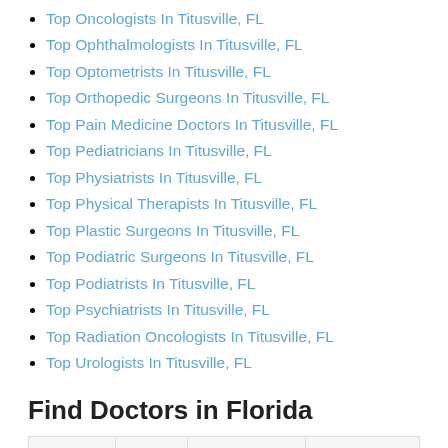Top Oncologists In Titusville, FL
Top Ophthalmologists In Titusville, FL
Top Optometrists In Titusville, FL
Top Orthopedic Surgeons In Titusville, FL
Top Pain Medicine Doctors In Titusville, FL
Top Pediatricians In Titusville, FL
Top Physiatrists In Titusville, FL
Top Physical Therapists In Titusville, FL
Top Plastic Surgeons In Titusville, FL
Top Podiatric Surgeons In Titusville, FL
Top Podiatrists In Titusville, FL
Top Psychiatrists In Titusville, FL
Top Radiation Oncologists In Titusville, FL
Top Urologists In Titusville, FL
Find Doctors in Florida
|  |  |  |  |
| --- | --- | --- | --- |
| Alachua | Eustis | Madeira Beach | Port Saint Lucie |